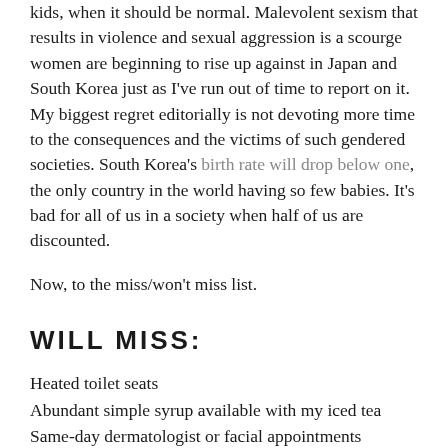kids, when it should be normal. Malevolent sexism that results in violence and sexual aggression is a scourge women are beginning to rise up against in Japan and South Korea just as I've run out of time to report on it. My biggest regret editorially is not devoting more time to the consequences and the victims of such gendered societies. South Korea's birth rate will drop below one, the only country in the world having so few babies. It's bad for all of us in a society when half of us are discounted.
Now, to the miss/won't miss list.
WILL MISS:
Heated toilet seats
Abundant simple syrup available with my iced tea
Same-day dermatologist or facial appointments
Scooter couriers for anything